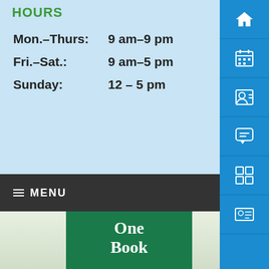HOURS
| Mon.–Thurs: | 9 am–9 pm |
| Fri.–Sat.: | 9 am–5 pm |
| Sunday: | 12  –  5 pm |
≡ MENU
[Figure (logo): One Book logo — green rectangle with white serif text reading 'One Book' above an open book illustration with flowing pages, set against a light background]
[Figure (infographic): Right sidebar with blue background containing 6 icon buttons: home icon, calendar grid icon, contact/person card icon, speech bubble icon, building/grid icon, and ID card icon]